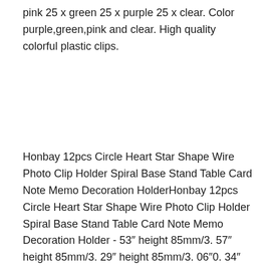pink 25 x green 25 x purple 25 x clear. Color purple,green,pink and clear. High quality colorful plastic clips.
Honbay 12pcs Circle Heart Star Shape Wire Photo Clip Holder Spiral Base Stand Table Card Note Memo Decoration HolderHonbay 12pcs Circle Heart Star Shape Wire Photo Clip Holder Spiral Base Stand Table Card Note Memo Decoration Holder - 53″ height 85mm/3. 57″ height 85mm/3. 29″ height 85mm/3. 06″0. 34″ heart size 2724mm (1. 34″ great for table number cards, name cards, wedding decoration, small gifts, etc, save space. 33″ base diameter 40mm/1. Mixed shape wire clip spiral base table card holder pack of 12 size circle